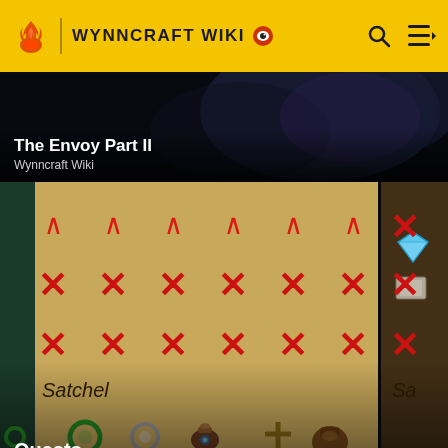WYNNCRAFT WIKI
The Envoy Part II
Wynncraft Wiki
[Figure (screenshot): Minecraft-style game screenshot showing a Satchel inventory UI with red X marks in a grid pattern, a blue gemstone, a gray stone item, and several ring/item icons. Text reads 'Satchel' at lower left.]
Quests
Wynncraft Wiki
[Figure (screenshot): Partial screenshot showing a Minecraft-style scene with wooden structures against a blue sky background.]